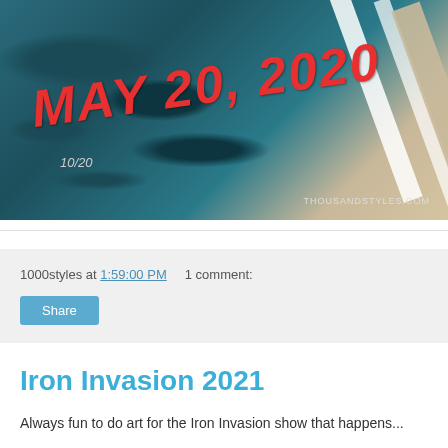[Figure (photo): Close-up photo of a screenprint/poster showing 'MAY 20, 2020' in large red italic text on a teal/dark blue textured background with diagonal white frame lines. Numbered '10/20' in lower area. Watermark 'THOUSANDSTYLES.COM' in lower right.]
1000styles at 1:59:00 PM    1 comment:
Share
Iron Invasion 2021
Always fun to do art for the Iron Invasion show that happens...